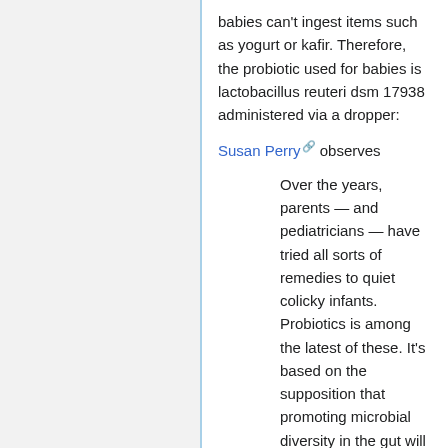babies can't ingest items such as yogurt or kafir. Therefore, the probiotic used for babies is lactobacillus reuteri dsm 17938 administered via a dropper:
Susan Perry observes
Over the years, parents — and pediatricians — have tried all sorts of remedies to quiet colicky infants. Probiotics is among the latest of these. It's based on the supposition that promoting microbial diversity in the gut will reduce the formation of gas and intestinal inflammation.
For the current study, a team of Australian